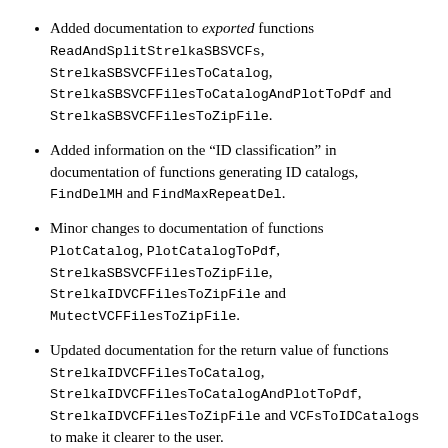Added documentation to exported functions ReadAndSplitStrelkaSBSVCFs, StrelkaSBSVCFFilesToCatalog, StrelkaSBSVCFFilesToCatalogAndPlotToPdf and StrelkaSBSVCFFilesToZipFile.
Added information on the “ID classification” in documentation of functions generating ID catalogs, FindDelMH and FindMaxRepeatDel.
Minor changes to documentation of functions PlotCatalog, PlotCatalogToPdf, StrelkaSBSVCFFilesToZipFile, StrelkaIDVCFFilesToZipFile and MutectVCFFilesToZipFile.
Updated documentation for the return value of functions StrelkaIDVCFFilesToCatalog, StrelkaIDVCFFilesToCatalogAndPlotToPdf, StrelkaIDVCFFilesToZipFile and VCFsToIDCatalogs to make it clearer to the user.
Other backward compatible changes
Added new exported data of catalog row order for SBS96, ID83 and DBS78 in SigProfiler format.